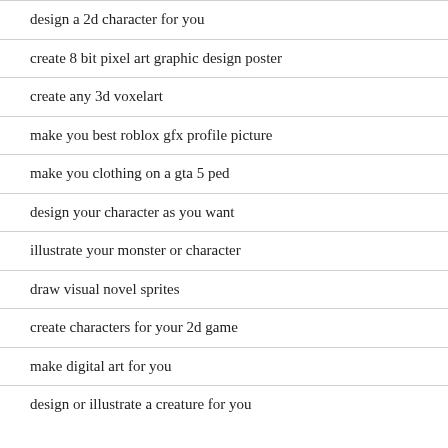design a 2d character for you
create 8 bit pixel art graphic design poster
create any 3d voxelart
make you best roblox gfx profile picture
make you clothing on a gta 5 ped
design your character as you want
illustrate your monster or character
draw visual novel sprites
create characters for your 2d game
make digital art for you
design or illustrate a creature for you